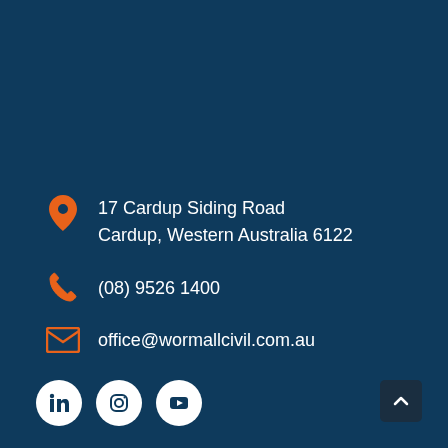17 Cardup Siding Road
Cardup, Western Australia 6122
(08) 9526 1400
office@wormallcivil.com.au
[Figure (infographic): Three white circular social media icon buttons: LinkedIn, Instagram, YouTube on dark blue background]
[Figure (other): Back to top button with upward chevron arrow, dark navy square with rounded corners]